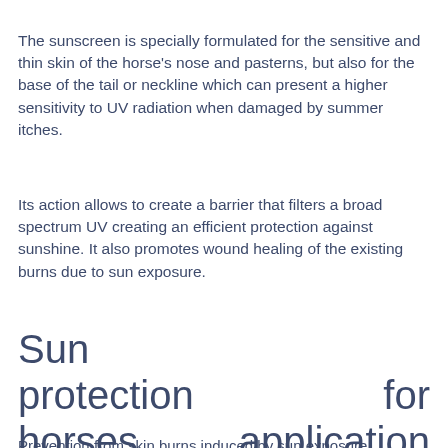The sunscreen is specially formulated for the sensitive and thin skin of the horse's nose and pasterns, but also for the base of the tail or neckline which can present a higher sensitivity to UV radiation when damaged by summer itches.
Its action allows to create a barrier that filters a broad spectrum UV creating an efficient protection against sunshine. It also promotes wound healing of the existing burns due to sun exposure.
Sun protection for horses application area :
Prevention from skin burns induced by sun exposure.
Equine sunscreen directions of use :